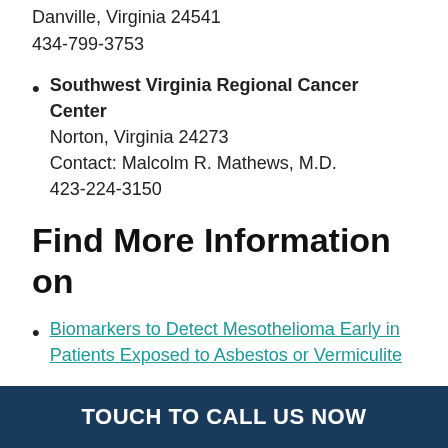Danville, Virginia 24541
434-799-3753
Southwest Virginia Regional Cancer Center
Norton, Virginia 24273
Contact: Malcolm R. Mathews, M.D.
423-224-3150
Find More Information on
Biomarkers to Detect Mesothelioma Early in Patients Exposed to Asbestos or Vermiculite
Detecting Abnormal Cells in Patients Surgery for Lung Cancer
Pemetrexed Disodium and Cisplatin With or Without Cediranib Maleate in Treating Patients
TOUCH TO CALL US NOW